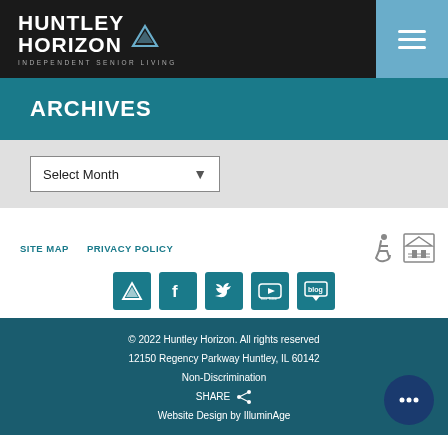HUNTLEY HORIZON — Independent Senior Living
ARCHIVES
Select Month
SITE MAP   PRIVACY POLICY
[Figure (infographic): Social media icons row: Huntley Horizon logo icon, Facebook, Twitter, YouTube, Blog]
© 2022 Huntley Horizon. All rights reserved
12150 Regency Parkway Huntley, IL 60142
Non-Discrimination
SHARE
Website Design by IlluminAge